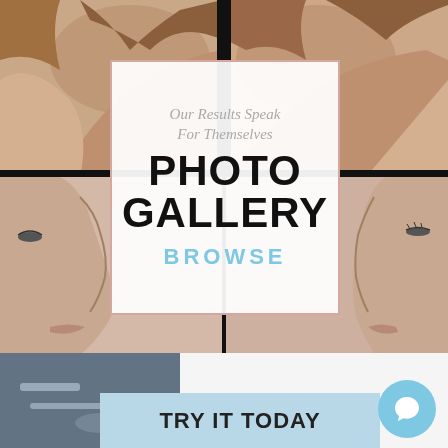[Figure (photo): Medical/cosmetic surgery before-and-after photo collage showing four panels: top-left and top-right show torso/shoulder views of a woman (before and after breast procedure), bottom-left and bottom-right show close-up side profile views of a nose (before and after rhinoplasty). A white overlay box in the center reads 'Our Results Speak For Themselves / PHOTO GALLERY / BROWSE'. Black divider strips separate the quadrants.]
Our Results Speak For Themselves
PHOTO GALLERY
BROWSE
[Figure (photo): Bottom section shows a partial photo on the left (dark, indistinct medical/device image) and a light blue banner reading 'TRY IT TODAY' in bold uppercase text. A light blue circular chat/message button icon is in the bottom right corner.]
TRY IT TODAY